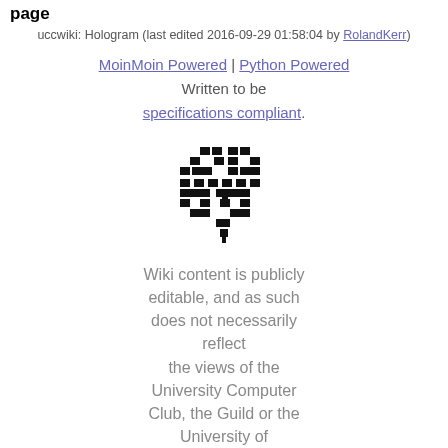page
uccwiki: Hologram (last edited 2016-09-29 01:58:04 by RolandKerr)
MoinMoin Powered | Python Powered Written to be specifications compliant.
[Figure (logo): UCC logo — a diamond-shaped arrangement of black pixel/block characters forming the UCC emblem]
Wiki content is publicly editable, and as such does not necessarily reflect the views of the University Computer Club, the Guild or the University of Western Australia.
Contact the webmasters.